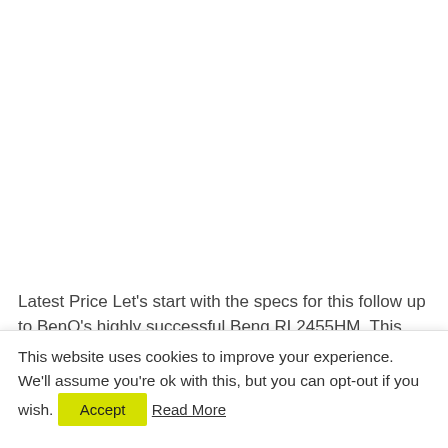Latest Price Let's start with the specs for this follow up to BenQ's highly successful Benq RL2455HM. This gaming monitor [...]
This website uses cookies to improve your experience. We'll assume you're ok with this, but you can opt-out if you wish. Accept Read More